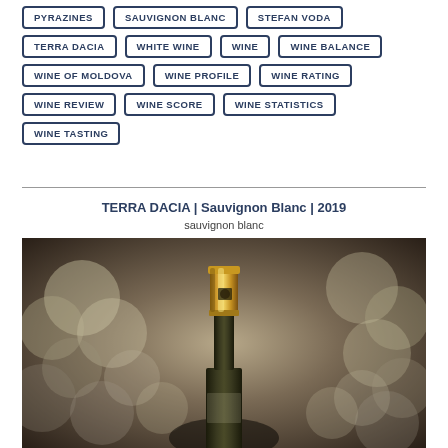PYRAZINES
SAUVIGNON BLANC
STEFAN VODA
TERRA DACIA
WHITE WINE
WINE
WINE BALANCE
WINE OF MOLDOVA
WINE PROFILE
WINE RATING
WINE REVIEW
WINE SCORE
WINE STATISTICS
WINE TASTING
TERRA DACIA | Sauvignon Blanc | 2019
sauvignon blanc
[Figure (photo): Close-up photo of a wine bottle with a gold foil cap and small label, with blurred grapes in the background.]